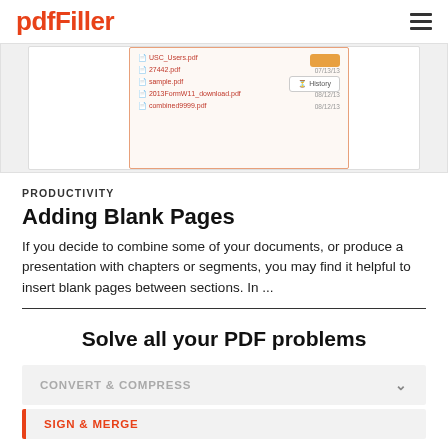pdfFiller
[Figure (screenshot): Screenshot of pdfFiller file list interface showing PDF files with dates and a History button]
PRODUCTIVITY
Adding Blank Pages
If you decide to combine some of your documents, or produce a presentation with chapters or segments, you may find it helpful to insert blank pages between sections. In ...
Solve all your PDF problems
CONVERT & COMPRESS
SIGN & MERGE